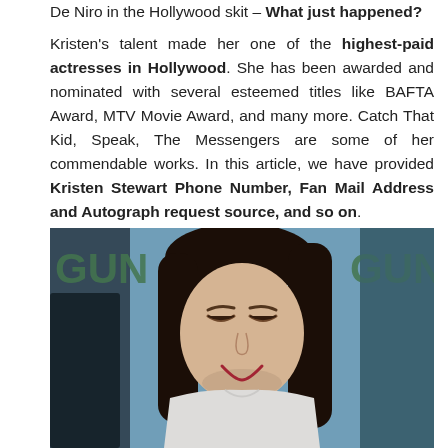De Niro in the Hollywood skit – What just happened? Kristen's talent made her one of the highest-paid actresses in Hollywood. She has been awarded and nominated with several esteemed titles like BAFTA Award, MTV Movie Award, and many more. Catch That Kid, Speak, The Messengers are some of her commendable works. In this article, we have provided Kristen Stewart Phone Number, Fan Mail Address and Autograph request source, and so on.
[Figure (photo): Photo of Kristen Stewart smiling and looking down, wearing a white t-shirt, at what appears to be a Comic-Con or similar event with a dark background showing the word GUN]